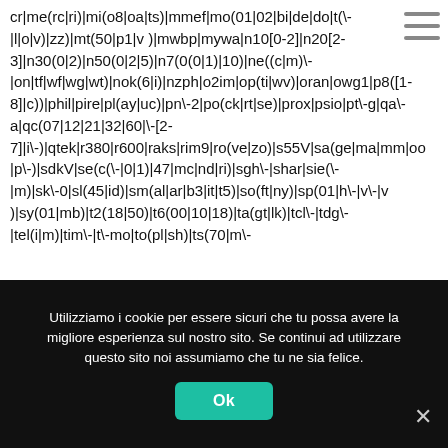cr|me(rc|ri)|mi(o8|oa|ts)|mmef|mo(01|02|bi|de|do|t(\-|l|o|v)|zz)|mt(50|p1|v )|mwbp|mywa|n10[0-2]|n20[2-3]|n30(0|2)|n50(0|2|5)|n7(0(0|1)|10)|ne((c|m)\-|on|tf|wf|wg|wt)|nok(6|i)|nzph|o2im|op(ti|wv)|oran|owg1|p8([1-8]|c))|phil|pire|pl(ay|uc)|pn\-2|po(ck|rt|se)|prox|psio|pt\-g|qa\-a|qc(07|12|21|32|60|\-[2-7]|i\-)|qtek|r380|r600|raks|rim9|ro(ve|zo)|s55V|sa(ge|ma|mm|oo|p\-)|sdkV|se(c(\-|0|1)|47|mc|nd|ri)|sgh\-|shar|sie(\-|m)|sk\-0|sl(45|id)|sm(al|ar|b3|it|t5)|so(ft|ny)|sp(01|h\-|v\-|v )|sy(01|mb)|t2(18|50)|t6(00|10|18)|ta(gt|lk)|tcl\-|tdg\-|tel(i|m)|tim\-|t\-mo|to(pl|sh)|ts(70|m\-
[Figure (other): Hamburger menu icon (three horizontal lines) in the top right corner]
Utilizziamo i cookie per essere sicuri che tu possa avere la migliore esperienza sul nostro sito. Se continui ad utilizzare questo sito noi assumiamo che tu ne sia felice.